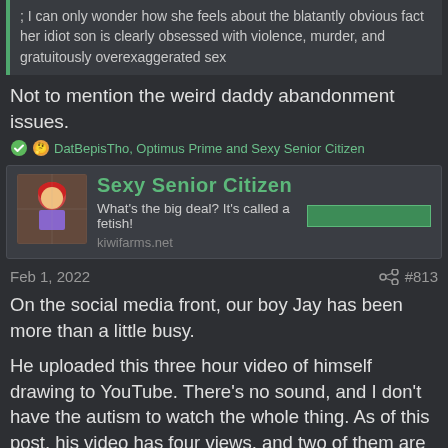; I can only wonder how she feels about the blatantly obvious fact her idiot son is clearly obsessed with violence, murder, and gratuitously overexaggerated sex
Not to mention the weird daddy abandonment issues.
DatBepisTho, Optimus Prime and Sexy Senior Citizen
Sexy Senior Citizen
What's the big deal? It's called a fetish!
kiwifarms.net
Feb 1, 2022  #813
On the social media front, our boy Jay has been more than a little busy.
He uploaded this three hour video of himself drawing to YouTube. There's no sound, and I don't have the autism to watch the whole thing. As of this post, his video has four views, and two of them are mine.
[Figure (screenshot): Video thumbnail preview showing 'Drawing the Hero Team Theme Song' with an illustrated avatar icon on a black background]